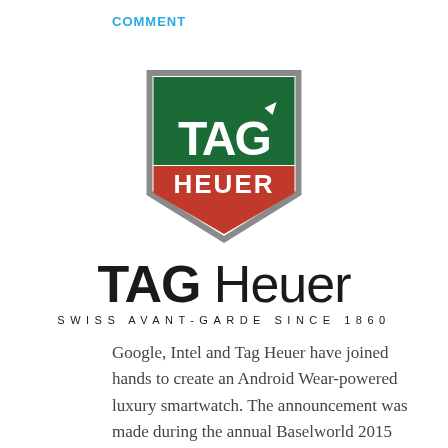COMMENT
[Figure (logo): TAG Heuer shield logo with green top section containing 'TAG' text with arrow, and red lower section containing 'HEUER' text, bordered in silver/grey]
TAG Heuer
SWISS AVANT-GARDE SINCE 1860
Google, Intel and Tag Heuer have joined hands to create an Android Wear-powered luxury smartwatch. The announcement was made during the annual Baselworld 2015 watch show where a lot of other famous watch brands showcased their watches as well, but this